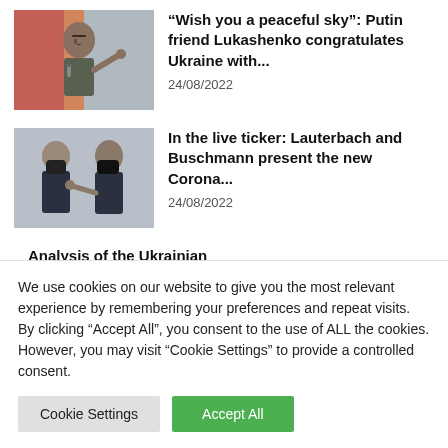[Figure (photo): Photo of Lukashenko speaking, pointing finger, with flag background]
“Wish you a peaceful sky”: Putin friend Lukashenko congratulates Ukraine with...
24/08/2022
[Figure (photo): Photo of two men wearing black face masks talking to each other]
In the live ticker: Lauterbach and Buschmann present the new Corona...
24/08/2022
Analysis of the Ukrainian
We use cookies on our website to give you the most relevant experience by remembering your preferences and repeat visits. By clicking “Accept All”, you consent to the use of ALL the cookies. However, you may visit “Cookie Settings” to provide a controlled consent.